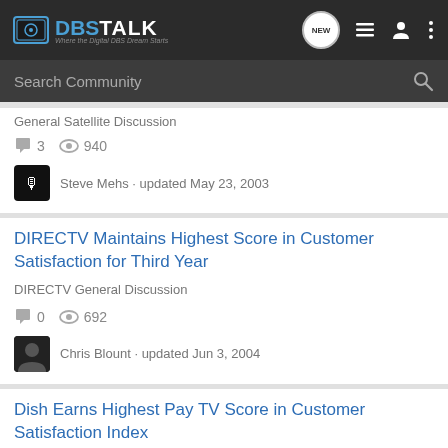DBSTALK - Where the Digital DBS Dream Starts
General Satellite Discussion
3 replies · 940 views
Steve Mehs · updated May 23, 2003
DIRECTV Maintains Highest Score in Customer Satisfaction for Third Year
DIRECTV General Discussion
0 replies · 692 views
Chris Blount · updated Jun 3, 2004
Dish Earns Highest Pay TV Score in Customer Satisfaction Index